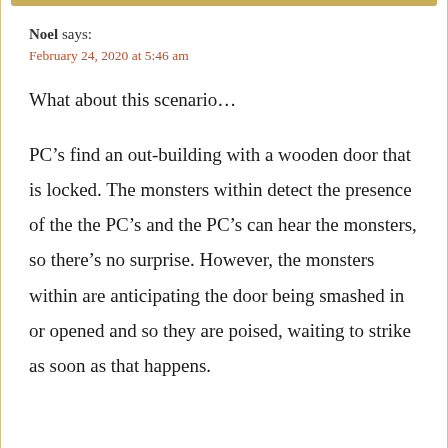Noel says:
February 24, 2020 at 5:46 am
What about this scenario…
PC’s find an out-building with a wooden door that is locked. The monsters within detect the presence of the the PC’s and the PC’s can hear the monsters, so there’s no surprise. However, the monsters within are anticipating the door being smashed in or opened and so they are poised, waiting to strike as soon as that happens.